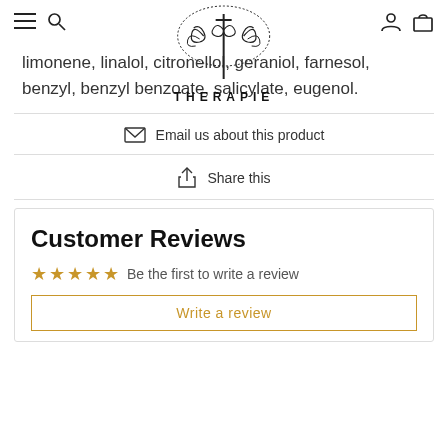[Figure (logo): Therapie butterfly/floral logo with decorative swirls and the text THERAPIE below]
limonene, linalol, citronellol, geraniol, farnesol, benzyl, benzyl benzoate, salicylate, eugenol.
Email us about this product
Share this
Customer Reviews
Be the first to write a review
Write a review